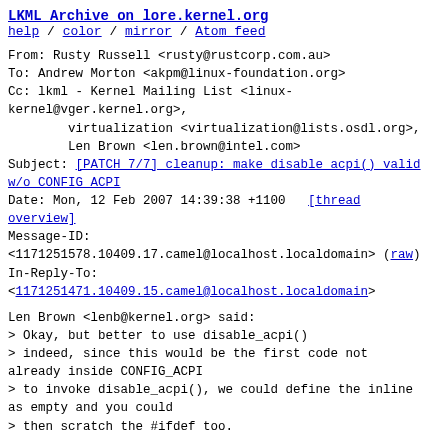LKML Archive on lore.kernel.org
help / color / mirror / Atom feed
From: Rusty Russell <rusty@rustcorp.com.au>
To: Andrew Morton <akpm@linux-foundation.org>
Cc: lkml - Kernel Mailing List <linux-kernel@vger.kernel.org>,
        virtualization <virtualization@lists.osdl.org>,
        Len Brown <len.brown@intel.com>
Subject: [PATCH 7/7] cleanup: make disable_acpi() valid w/o CONFIG_ACPI
Date: Mon, 12 Feb 2007 14:39:38 +1100   [thread overview]
Message-ID:
<1171251578.10409.17.camel@localhost.localdomain> (raw)
In-Reply-To:
<1171251471.10409.15.camel@localhost.localdomain>
Len Brown <lenb@kernel.org> said:
> Okay, but better to use disable_acpi()
> indeed, since this would be the first code not already inside CONFIG_ACPI
> to invoke disable_acpi(), we could define the inline as empty and you could
> then scratch the #ifdef too.

Signed-off-by: Rusty Russell <rusty@rustcorp.com.au>
================================================================
   a/include/asm-i386/acpi.h